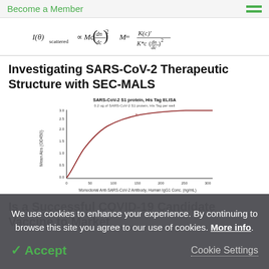Become a Member
Investigating SARS-CoV-2 Therapeutic Structure with SEC-MALS
[Figure (continuous-plot): ELISA binding curve for SARS-CoV-2 S1 protein His Tag. X-axis: Monoclonal Anti-SARS-CoV-2 Antibody, Human IgG1 Conc. (ng/mL), Y-axis: Mean Abs (OD450). Saturation curve rising from near 0 to approximately 3.5.]
Is a Successful COVID-19 Candidate Vaccine to Market
We use cookies to enhance your experience. By continuing to browse this site you agree to our use of cookies. More info.
✓ Accept   Cookie Settings